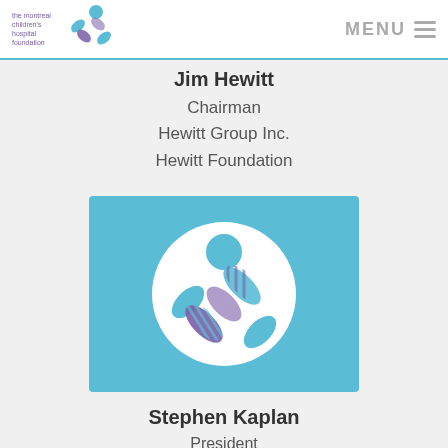the montreal children's hospital foundation — MENU
Jim Hewitt
Chairman
Hewitt Group Inc.
Hewitt Foundation
[Figure (logo): Montreal Children's Hospital Foundation logo: white circle on blue background with stylized figure and cross-hatch bandage design in blue and purple]
Stephen Kaplan
President
Reliance Construction Group